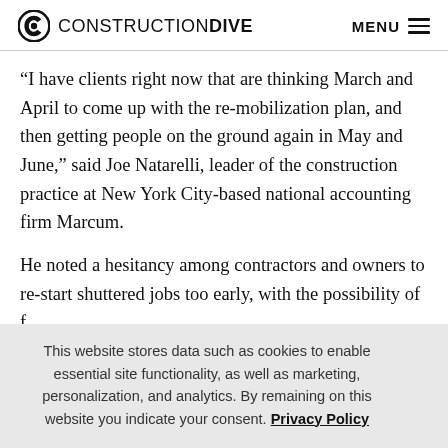CONSTRUCTION DIVE  MENU
“I have clients right now that are thinking March and April to come up with the re-mobilization plan, and then getting people on the ground again in May and June,” said Joe Natarelli, leader of the construction practice at New York City-based national accounting firm Marcum.
He noted a hesitancy among contractors and owners to re-start shuttered jobs too early, with the possibility of f...
This website stores data such as cookies to enable essential site functionality, as well as marketing, personalization, and analytics. By remaining on this website you indicate your consent. Privacy Policy